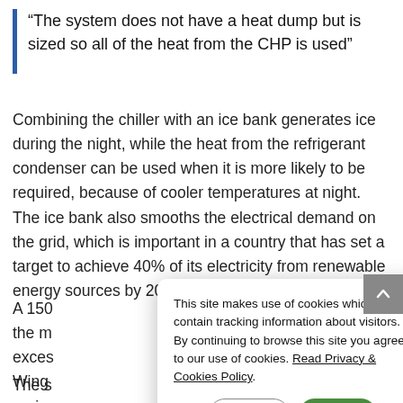“The system does not have a heat dump but is sized so all of the heat from the CHP is used”
Combining the chiller with an ice bank generates ice during the night, while the heat from the refrigerant condenser can be used when it is more likely to be required, because of cooler temperatures at night. The ice bank also smooths the electrical demand on the grid, which is important in a country that has set a target to achieve 40% of its electricity from renewable energy sources by 2020.
A 150... the m... exces... Wing... proje...
The s... unwanted heat to the external air. Because galleries
This site makes use of cookies which may contain tracking information about visitors. By continuing to browse this site you agree to our use of cookies. Read Privacy & Cookies Policy.